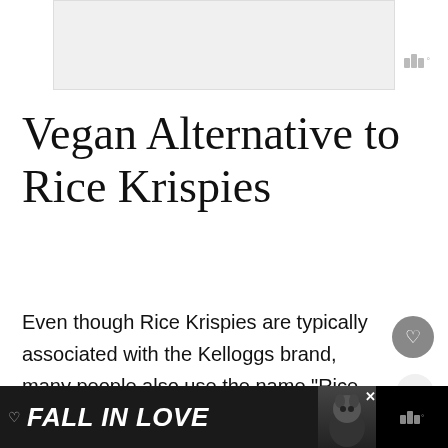[Figure (illustration): Top advertisement banner placeholder box with light gray background]
Tidal logo top right of ad box
Vegan Alternative to Rice Krispies
Even though Rice Krispies are typically associated with the Kelloggs brand, many people also use the name “Rice Krispies” for any rice-based breakfast cereal that have a similar taste or texture to the Rice
[Figure (infographic): What's Next panel showing thumbnail and text: Are Ring Pops Vegan? Here...]
[Figure (illustration): Bottom advertisement banner with dark background and FALL IN LOVE text and dog image]